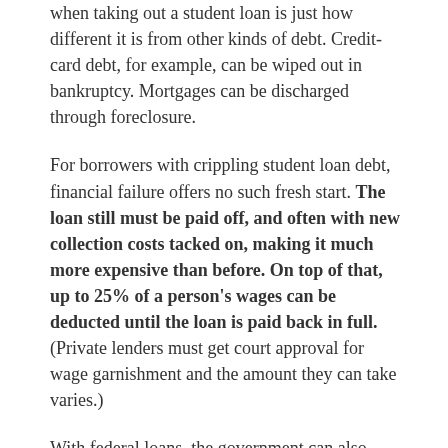when taking out a student loan is just how different it is from other kinds of debt. Credit-card debt, for example, can be wiped out in bankruptcy. Mortgages can be discharged through foreclosure.
For borrowers with crippling student loan debt, financial failure offers no such fresh start. The loan still must be paid off, and often with new collection costs tacked on, making it much more expensive than before. On top of that, up to 25% of a person's wages can be deducted until the loan is paid back in full. (Private lenders must get court approval for wage garnishment and the amount they can take varies.)
With federal loans, the government can also keep your federal and state income tax refunds, intercept future lottery winnings and withhold part of your Social Security payments. "Defaulting can be completely devastating to a family's finances and sense of well being," says Mark Kantrowitz,